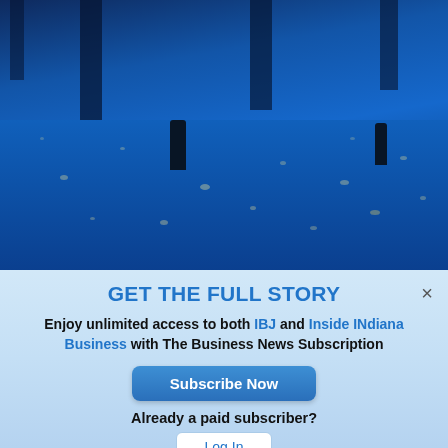[Figure (photo): Interior photo of The Lume at Newfields immersive Van Gogh exhibition — deep blue glowing floor with scattered light spots, silhouettes of visitors in the background.]
PHOTO GALLERY: The Lume at Newfields—Van Gogh
More Photos
GET THE FULL STORY
Enjoy unlimited access to both IBJ and Inside INdiana Business with The Business News Subscription
Subscribe Now
Already a paid subscriber?
Log In